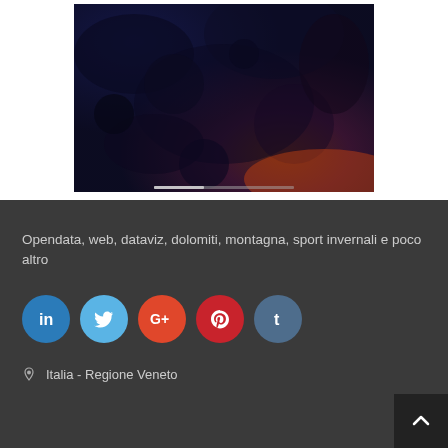[Figure (photo): Dark atmospheric photo with deep blue, purple, and orange/red tones, appears to show an aerial or abstract scene with texture]
Opendata, web, dataviz, dolomiti, montagna, sport invernali e poco altro
[Figure (infographic): Row of five social media icon circles: LinkedIn (blue), Twitter (light blue), Google+ (red-orange), Pinterest (red), Tumblr (slate blue)]
Italia - Regione Veneto